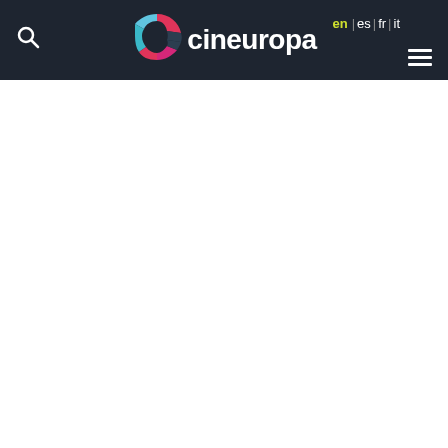[Figure (logo): Cineuropa website header with logo (stylized C in pink/blue/teal on dark background), language selector (en | es | fr | it), search icon, and hamburger menu]
trailers & videos
| field | value |
| --- | --- |
| international title: | Falcon Lake |
| original title: | Falcon Lake |
| country: | France, Canada |
| sales agent: | Memento International |
| year: | 2022 |